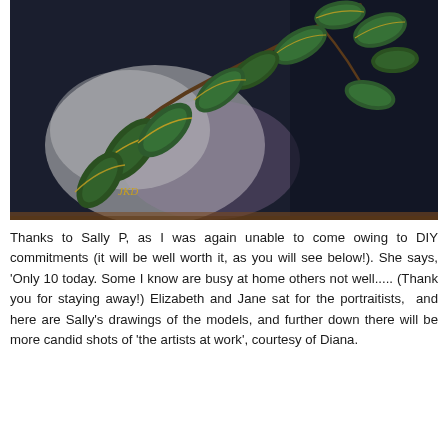[Figure (photo): A pastel or charcoal drawing of a leafy plant branch with green and yellow-edged leaves against a dark background with lighter white and purple haze. Artist signature 'JKD' visible in bottom left area of the artwork.]
Thanks to Sally P, as I was again unable to come owing to DIY commitments (it will be well worth it, as you will see below!). She says, 'Only 10 today. Some I know are busy at home others not well..... (Thank you for staying away!) Elizabeth and Jane sat for the portraitists, and here are Sally's drawings of the models, and further down there will be more candid shots of 'the artists at work', courtesy of Diana.